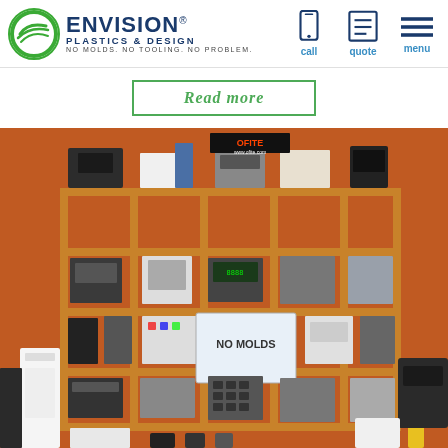ENVISION PLASTICS & DESIGN — NO MOLDS. NO TOOLING. NO PROBLEM. | call | quote | menu
Read more
[Figure (photo): Display shelf on an orange wall filled with plastic electronic enclosures, remote controls, keypads, and various plastic product prototypes manufactured by Envision Plastics & Design. A sign in the center reads 'NO MOLDS'.]